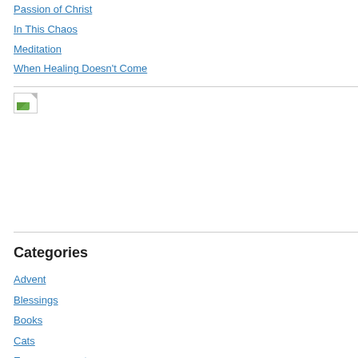Passion of Christ
In This Chaos
Meditation
When Healing Doesn't Come
[Figure (photo): Broken/unloaded image placeholder with small landscape thumbnail icon]
Categories
Advent
Blessings
Books
Cats
Encouragement